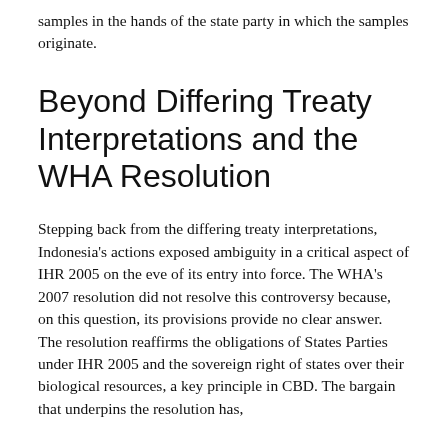samples in the hands of the state party in which the samples originate.
Beyond Differing Treaty Interpretations and the WHA Resolution
Stepping back from the differing treaty interpretations, Indonesia's actions exposed ambiguity in a critical aspect of IHR 2005 on the eve of its entry into force. The WHA's 2007 resolution did not resolve this controversy because, on this question, its provisions provide no clear answer. The resolution reaffirms the obligations of States Parties under IHR 2005 and the sovereign right of states over their biological resources, a key principle in CBD. The bargain that underpins the resolution has,